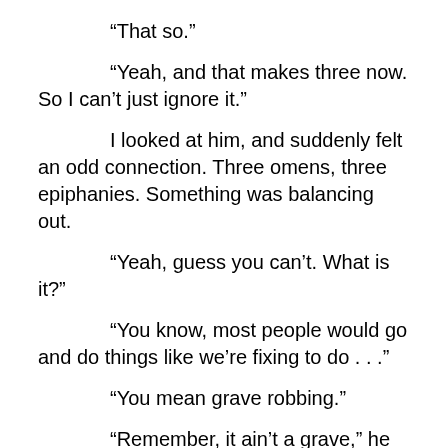“That so.”
“Yeah, and that makes three now. So I can’t just ignore it.”
I looked at him, and suddenly felt an odd connection. Three omens, three epiphanies. Something was balancing out.
“Yeah, guess you can’t. What is it?”
“You know, most people would go and do things like we’re fixing to do . . .”
“You mean grave robbing.”
“Remember, it ain’t a grave,” he said, and grinned. “But most would go and do something like that at night, see. And that’s just when all those cameras